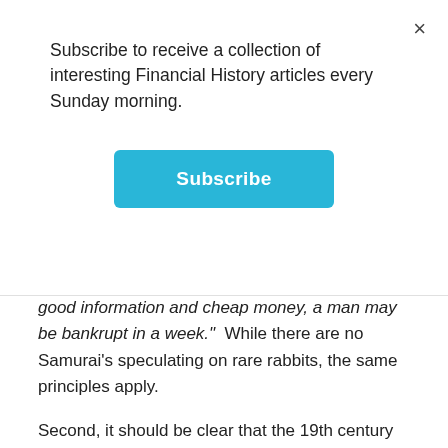Subscribe to receive a collection of interesting Financial History articles every Sunday morning.
Subscribe
good information and cheap money, a man may be bankrupt in a week." While there are no Samurai's speculating on rare rabbits, the same principles apply.
Second, it should be clear that the 19th century “Cabinet of Curiosities” have now merely evolved from physical cabinets to gigabytes on our smart phones and hard drives. Whether it be the NFTs we buy and sell, sports cards, Twitter followers,